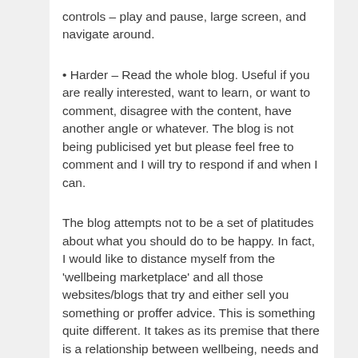controls – play and pause, large screen, and navigate around.
• Harder – Read the whole blog. Useful if you are really interested, want to learn, or want to comment, disagree with the content, have another angle or whatever. The blog is not being publicised yet but please feel free to comment and I will try to respond if and when I can.
The blog attempts not to be a set of platitudes about what you should do to be happy. In fact, I would like to distance myself from the 'wellbeing marketplace' and all those websites/blogs that try and either sell you something or proffer advice. This is something quite different. It takes as its premise that there is a relationship between wellbeing, needs and control in both the individual and society. If needs are not